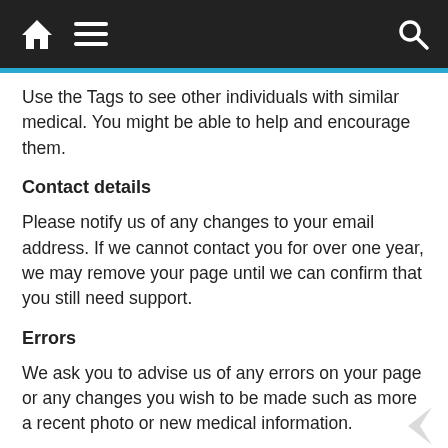Home / Menu / Search
Use the Tags to see other individuals with similar medical. You might be able to help and encourage them.
Contact details
Please notify us of any changes to your email address. If we cannot contact you for over one year, we may remove your page until we can confirm that you still need support.
Errors
We ask you to advise us of any errors on your page or any changes you wish to be made such as more a recent photo or new medical information.
Publicity